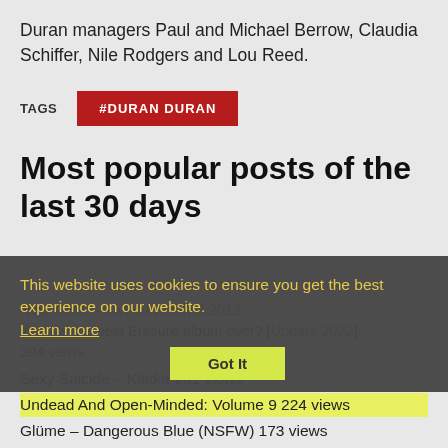Duran managers Paul and Michael Berrow, Claudia Schiffer, Nile Rodgers and Lou Reed.
TAGS
#DURAN DURAN
Most popular posts of the last 30 days
This website uses cookies to ensure you get the best experience on our website. Learn more
Got It
New Order – Live At Bestival 2012 What is the best Erasure album ever? [Update 2022] 394 views
Sexy Suicide – Klatka 281 views
Undead And Open-Minded: Volume 9 224 views
Glüme – Dangerous Blue (NSFW) 173 views
Cold Showers – Sliver 163 views